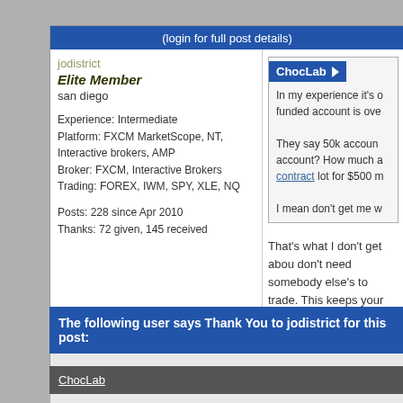(login for full post details)
jodistrict
Elite Member
san diego

Experience: Intermediate
Platform: FXCM MarketScope, NT, Interactive brokers, AMP
Broker: FXCM, Interactive Brokers
Trading: FOREX, IWM, SPY, XLE, NQ

Posts: 228 since Apr 2010
Thanks: 72 given, 145 received
ChocLab
In my experience it's o funded account is ove
They say 50k accoun account? How much a contract lot for $500 m
I mean don't get me w
That's what I don't get abou don't need somebody else's to trade. This keeps your los want. Their rules are just sir simulation.
The following user says Thank You to jodistrict for this post:
ChocLab